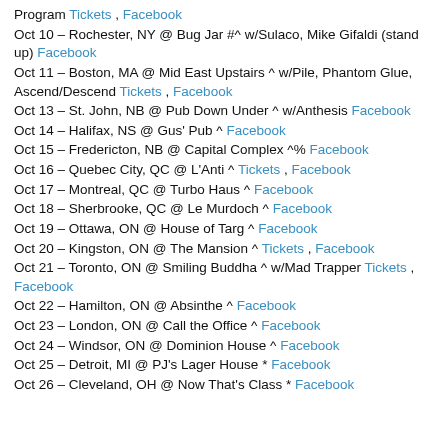Program Tickets , Facebook
Oct 10 – Rochester, NY @ Bug Jar #^ w/Sulaco, Mike Gifaldi (stand up) Facebook
Oct 11 – Boston, MA @ Mid East Upstairs ^ w/Pile, Phantom Glue, Ascend/Descend Tickets , Facebook
Oct 13 – St. John, NB @ Pub Down Under ^ w/Anthesis Facebook
Oct 14 – Halifax, NS @ Gus' Pub ^ Facebook
Oct 15 – Fredericton, NB @ Capital Complex ^% Facebook
Oct 16 – Quebec City, QC @ L'Anti ^ Tickets , Facebook
Oct 17 – Montreal, QC @ Turbo Haus ^ Facebook
Oct 18 – Sherbrooke, QC @ Le Murdoch ^ Facebook
Oct 19 – Ottawa, ON @ House of Targ ^ Facebook
Oct 20 – Kingston, ON @ The Mansion ^ Tickets , Facebook
Oct 21 – Toronto, ON @ Smiling Buddha ^ w/Mad Trapper Tickets , Facebook
Oct 22 – Hamilton, ON @ Absinthe ^ Facebook
Oct 23 – London, ON @ Call the Office ^ Facebook
Oct 24 – Windsor, ON @ Dominion House ^ Facebook
Oct 25 – Detroit, MI @ PJ's Lager House * Facebook
Oct 26 – Cleveland, OH @ Now That's Class * Facebook